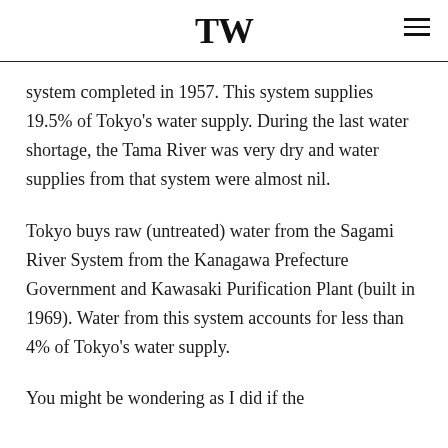TW
system completed in 1957. This system supplies 19.5% of Tokyo’s water supply. During the last water shortage, the Tama River was very dry and water supplies from that system were almost nil.
Tokyo buys raw (untreated) water from the Sagami River System from the Kanagawa Prefecture Government and Kawasaki Purification Plant (built in 1969). Water from this system accounts for less than 4% of Tokyo’s water supply.
You might be wondering as I did if the